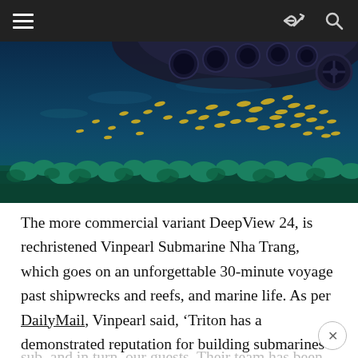Navigation bar with hamburger menu, share icon, and search icon
[Figure (photo): Underwater photograph showing a school of yellow fish swimming above a coral reef, with the hull of a submarine visible at the top of the image. Deep blue ocean water in the background.]
The more commercial variant DeepView 24, is rechristened Vinpearl Submarine Nha Trang, which goes on an unforgettable 30-minute voyage past shipwrecks and reefs, and marine life. As per DailyMail, Vinpearl said, ‘Triton has a demonstrated reputation for building submarines that can repeatedly and safely visit even the deepest points in our oceans. We knew their significant experience would ensure the safety of our oceans, the sub, and in turn, our guests. Their team has been...